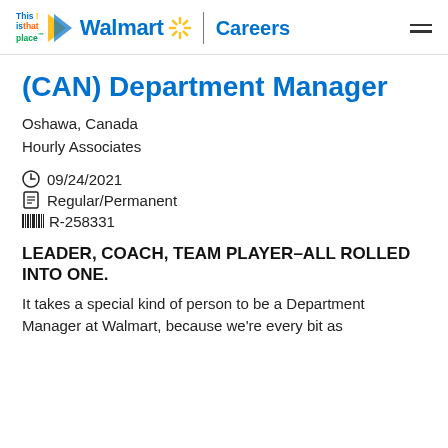This is that place | Walmart Careers
(CAN) Department Manager
Oshawa, Canada
Hourly Associates
09/24/2021
Regular/Permanent
R-258331
LEADER, COACH, TEAM PLAYER–ALL ROLLED INTO ONE.
It takes a special kind of person to be a Department Manager at Walmart, because we're every bit as